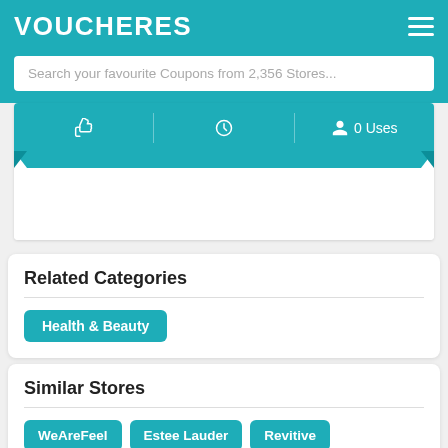VOUCHERES
Search your favourite Coupons from 2,356 Stores...
[Figure (screenshot): Coupon card ribbon with thumbs up icon, clock icon, and '0 Uses' user icon, teal background with folded ribbon corners]
Related Categories
Health & Beauty
Similar Stores
WeAreFeel  Estee Lauder  Revitive